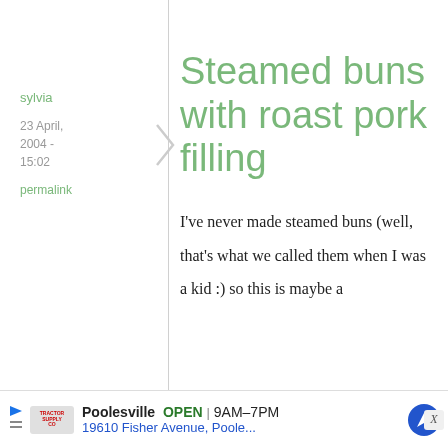sylvia
23 April, 2004 - 15:02
permalink
Steamed buns with roast pork filling
I've never made steamed buns (well, that's what we called them when I was a kid :) so this is maybe a
Poolesville  OPEN  9AM–7PM  19610 Fisher Avenue, Poole...